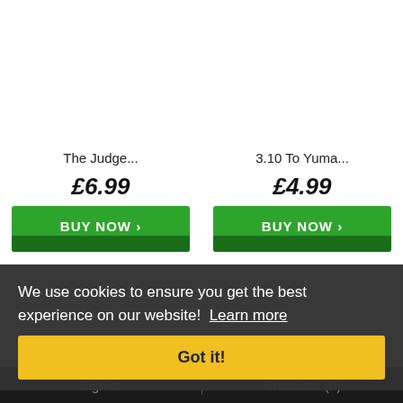The Judge...
£6.99
BUY NOW ›
3.10 To Yuma...
£4.99
BUY NOW ›
We use cookies to ensure you get the best experience on our website!  Learn more
Got it!
Sign In   |   Checkout (0)